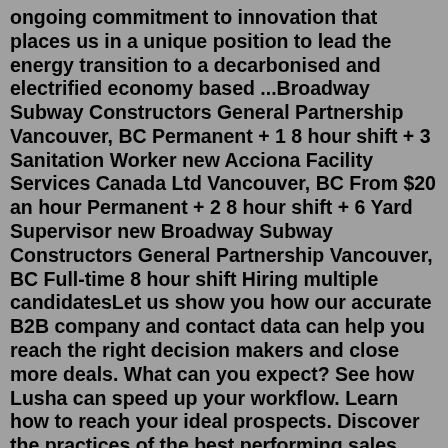ongoing commitment to innovation that places us in a unique position to lead the energy transition to a decarbonised and electrified economy based ...Broadway Subway Constructors General Partnership Vancouver, BC Permanent + 1 8 hour shift + 3 Sanitation Worker new Acciona Facility Services Canada Ltd Vancouver, BC From $20 an hour Permanent + 2 8 hour shift + 6 Yard Supervisor new Broadway Subway Constructors General Partnership Vancouver, BC Full-time 8 hour shift Hiring multiple candidatesLet us show you how our accurate B2B company and contact data can help you reach the right decision makers and close more deals. What can you expect? See how Lusha can speed up your workflow. Learn how to reach your ideal prospects. Discover the practices of the best performing sales teams. Trusted by 280,000+ revenue teams of all sizesHuge directory of Food & Beverage, Agriculture, Chemicals, Telecommunications, Computer Hardware & Software, Construction & Real Estate, Energy, Engineering & Real Manufacturing